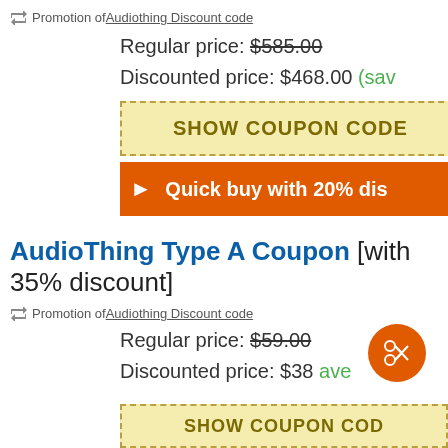Promotion of Audiothing Discount code
Regular price: $585.00
Discounted price: $468.00 (save…)
SHOW COUPON CODE
Quick buy with 20% dis…
AudioThing Type A Coupon [with 35% discount]
Promotion of Audiothing Discount code
Regular price: $59.00
Discounted price: $38…  (save…)
SHOW COUPON CODE